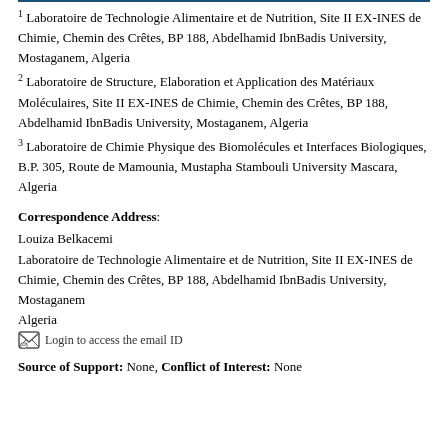1 Laboratoire de Technologie Alimentaire et de Nutrition, Site II EX-INES de Chimie, Chemin des Crêtes, BP 188, Abdelhamid IbnBadis University, Mostaganem, Algeria
2 Laboratoire de Structure, Elaboration et Application des Matériaux Moléculaires, Site II EX-INES de Chimie, Chemin des Crêtes, BP 188, Abdelhamid IbnBadis University, Mostaganem, Algeria
3 Laboratoire de Chimie Physique des Biomolécules et Interfaces Biologiques, B.P. 305, Route de Mamounia, Mustapha Stambouli University Mascara, Algeria
Correspondence Address:
Louiza Belkacemi
Laboratoire de Technologie Alimentaire et de Nutrition, Site II EX-INES de Chimie, Chemin des Crêtes, BP 188, Abdelhamid IbnBadis University, Mostaganem
Algeria
Login to access the email ID
Source of Support: None, Conflict of Interest: None